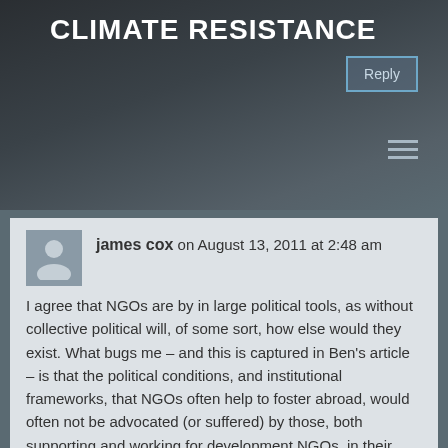CLIMATE RESISTANCE
Reply
james cox on August 13, 2011 at 2:48 am
I agree that NGOs are by in large political tools, as without collective political will, of some sort, how else would they exist. What bugs me – and this is captured in Ben's article – is that the political conditions, and institutional frameworks, that NGOs often help to foster abroad, would often not be advocated (or suffered) by those, both supporting and working for development NGOs, in their countries of their origin.
Development projects – led by NGOs – are able to use non – industrialised states,as a playground for western led development